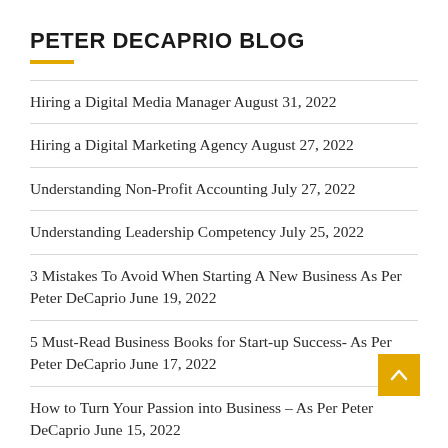PETER DECAPRIO BLOG
Hiring a Digital Media Manager August 31, 2022
Hiring a Digital Marketing Agency August 27, 2022
Understanding Non-Profit Accounting July 27, 2022
Understanding Leadership Competency July 25, 2022
3 Mistakes To Avoid When Starting A New Business As Per Peter DeCaprio June 19, 2022
5 Must-Read Business Books for Start-up Success- As Per Peter DeCaprio June 17, 2022
How to Turn Your Passion into Business – As Per Peter DeCaprio June 15, 2022